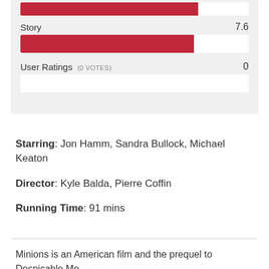[Figure (bar-chart): Ratings]
Starring: Jon Hamm, Sandra Bullock, Michael Keaton
Director: Kyle Balda, Pierre Coffin
Running Time: 91 mins
Minions is an American film and the prequel to Despicable Me.